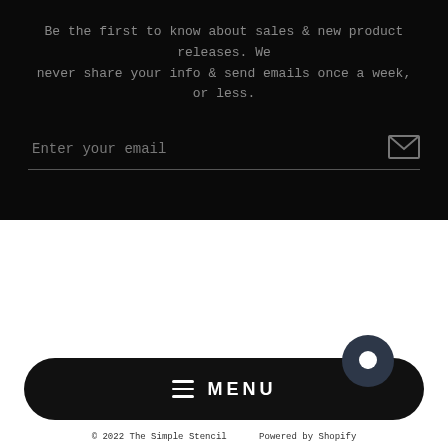Be the first to know about sales & new product releases. We never share your info & send emails once a week, or less.
Enter your email
[Figure (infographic): Social media icons in circles: Instagram, Facebook, Twitter, Pinterest, LinkedIn, YouTube]
MENU
© 2022 The Simple Stencil    Powered by Shopify